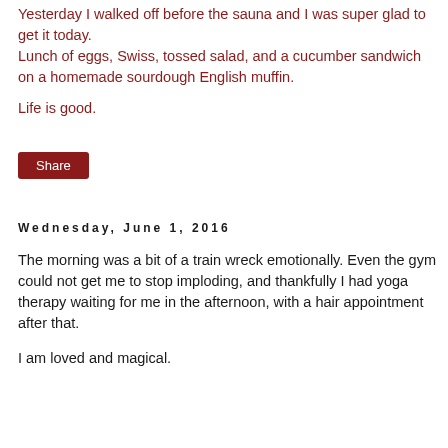Yesterday I walked off before the sauna and I was super glad to get it today.
Lunch of eggs, Swiss, tossed salad, and a cucumber sandwich on a homemade sourdough English muffin.

Life is good.
[Figure (other): Share button — dark red rounded rectangle with white 'Share' text]
Wednesday, June 1, 2016
The morning was a bit of a train wreck emotionally. Even the gym could not get me to stop imploding, and thankfully I had yoga therapy waiting for me in the afternoon, with a hair appointment after that.

I am loved and magical.